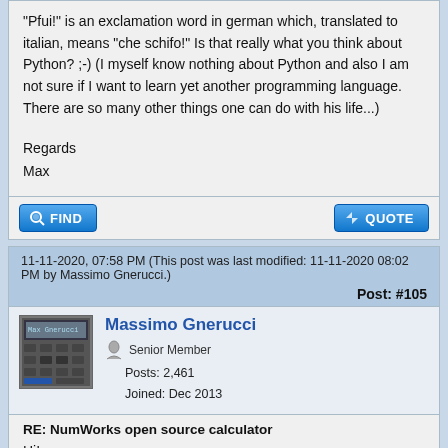"Pfui!" is an exclamation word in german which, translated to italian, means "che schifo!" Is that really what you think about Python? ;-) (I myself know nothing about Python and also I am not sure if I want to learn yet another programming language. There are so many other things one can do with his life...)
Regards
Max
11-11-2020, 07:58 PM (This post was last modified: 11-11-2020 08:02 PM by Massimo Gnerucci.)
Post: #105
[Figure (photo): Avatar image of Massimo Gnerucci showing a calculator display]
Massimo Gnerucci
Senior Member
Posts: 2,461
Joined: Dec 2013
RE: NumWorks open source calculator
Hi!
Maximilian Hohmann Wrote: → (11-11-2020 07:10 PM)